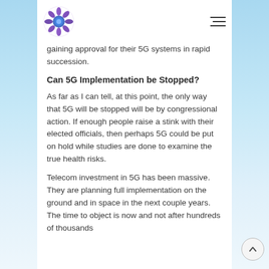[Logo] [Hamburger menu]
gaining approval for their 5G systems in rapid succession.
Can 5G Implementation be Stopped?
As far as I can tell, at this point, the only way that 5G will be stopped will be by congressional action. If enough people raise a stink with their elected officials, then perhaps 5G could be put on hold while studies are done to examine the true health risks.
Telecom investment in 5G has been massive. They are planning full implementation on the ground and in space in the next couple years. The time to object is now and not after hundreds of thousands